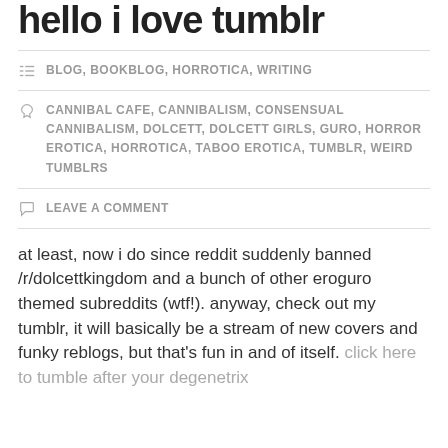hello i love tumblr
BLOG, BOOKBLOG, HORROTICA, WRITING
CANNIBAL CAFE, CANNIBALISM, CONSENSUAL CANNIBALISM, DOLCETT, DOLCETT GIRLS, GURO, HORROR EROTICA, HORROTICA, TABOO EROTICA, TUMBLR, WEIRD TUMBLRS
LEAVE A COMMENT
at least, now i do since reddit suddenly banned /r/dolcettkingdom and a bunch of other eroguro themed subreddits (wtf!). anyway, check out my tumblr, it will basically be a stream of new covers and funky reblogs, but that's fun in and of itself. click here to tumble after your degenetrix